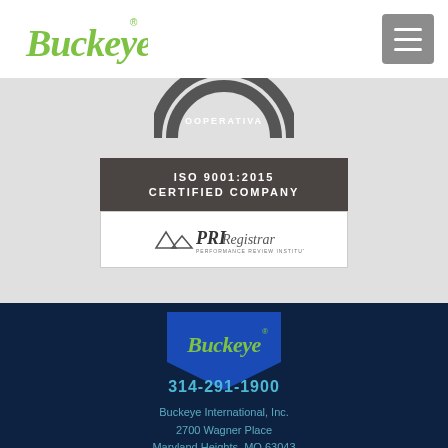[Figure (logo): Buckeye logo in green script with registered trademark symbol, top-left header]
[Figure (other): Hamburger menu button (three horizontal lines) in gray square, top-right header]
[Figure (other): Partial cooperative badge/seal, partially visible at top of gray section]
[Figure (other): ISO 9001:2015 Certified Company badge with PRI Registrar Performance Review Institute logo]
[Figure (logo): Buckeye logo on blue shield/chevron shape in footer]
314-291-1900
Buckeye International, Inc.
2700 Wagner Place
Maryland Heights, MO 63043